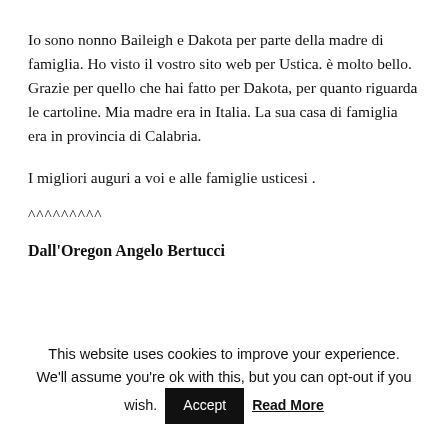Io sono nonno Baileigh e Dakota per parte della madre di famiglia. Ho visto il vostro sito web per Ustica. è molto bello. Grazie per quello che hai fatto per Dakota, per quanto riguarda le cartoline. Mia madre era in Italia. La sua casa di famiglia era in provincia di Calabria.
I migliori auguri a voi e alle famiglie usticesi .
^^^^^^^^^
Dall'Oregon Angelo Bertucci
This website uses cookies to improve your experience. We'll assume you're ok with this, but you can opt-out if you wish. Accept Read More